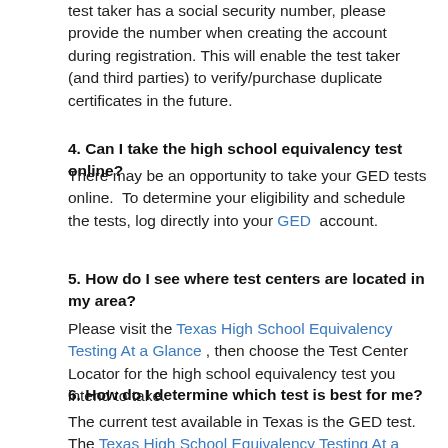test taker has a social security number, please provide the number when creating the account during registration. This will enable the test taker (and third parties) to verify/purchase duplicate certificates in the future.
4. Can I take the high school equivalency test online?
There may be an opportunity to take your GED tests online.  To determine your eligibility and schedule the tests, log directly into your GED  account.
5. How do I see where test centers are located in my area?
Please visit the Texas High School Equivalency Testing At a Glance , then choose the Test Center Locator for the high school equivalency test you intend to take.
6. How do I determine which test is best for me?
The current test available in Texas is the GED test. The Texas High School Equivalency Testing At a Glance page